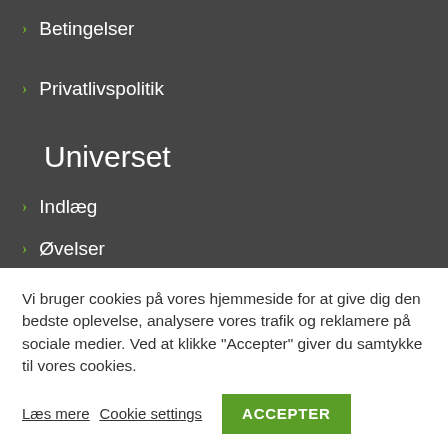> Betingelser
> Privatlivspolitik
Universet
> Indlæg
> Øvelser
Vi bruger cookies på vores hjemmeside for at give dig den bedste oplevelse, analysere vores trafik og reklamere på sociale medier. Ved at klikke "Accepter" giver du samtykke til vores cookies.
Læs mere Cookie settings ACCEPTER